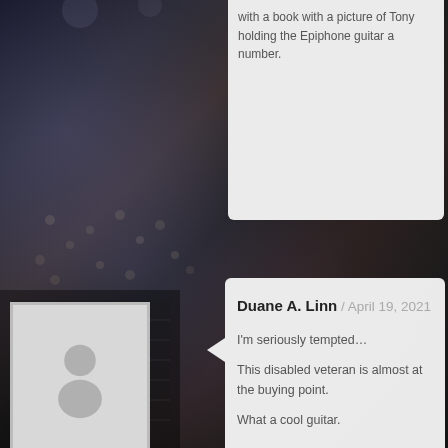[Figure (photo): Concert crowd background photo with stage lighting, dark atmosphere, speaker visible on lower left]
[Figure (photo): User avatar placeholder silhouette icon in gray square frame]
with a book with a picture of Tony holding the Epiphone guitar a number.
Duane A. Linn / April 19, 2021
I'm seriously tempted…
This disabled veteran is almost at the buying point.
What a cool guitar.
Leave a Reply to J Findle
Cancel reply